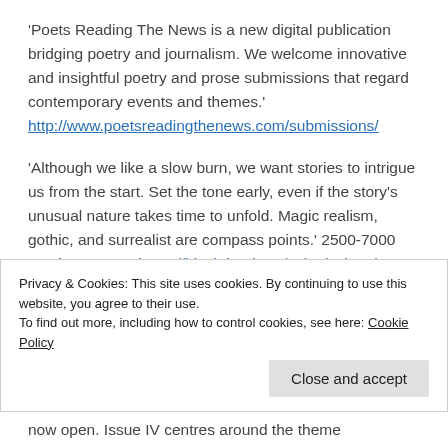'Poets Reading The News is a new digital publication bridging poetry and journalism. We welcome innovative and insightful poetry and prose submissions that regard contemporary events and themes.' http://www.poetsreadingthenews.com/submissions/
'Although we like a slow burn, we want stories to intrigue us from the start. Set the tone early, even if the story's unusual nature takes time to unfold. Magic realism, gothic, and surrealist are compass points.' 2500-7000 words. PAYING https://blackdandy.co/submissions/
'The Haight Ashbury Literary Journal publishes well-written poetry and fiction. HALJ's voices are often of people who have been marginalized, oppressed, or abused.' (Cathy's note: you can submit by email if you live in a country other than USA)
Privacy & Cookies: This site uses cookies. By continuing to use this website, you agree to their use.
To find out more, including how to control cookies, see here: Cookie Policy
now open. Issue IV centres around the theme